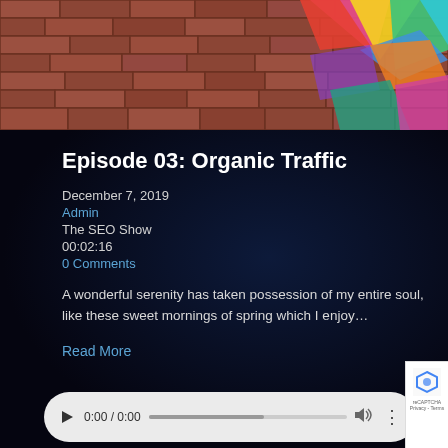[Figure (photo): Top portion of a brick wall with colorful graffiti triangles/geometric shapes in pink, yellow, green, teal, red colors on the upper right]
Episode 03: Organic Traffic
December 7, 2019
Admin
The SEO Show
00:02:16
0 Comments
A wonderful serenity has taken possession of my entire soul, like these sweet mornings of spring which I enjoy…
Read More
[Figure (screenshot): Audio player bar with play button, time display 0:00 / 0:00, progress bar, volume icon, and more options icon on a light gray rounded pill background]